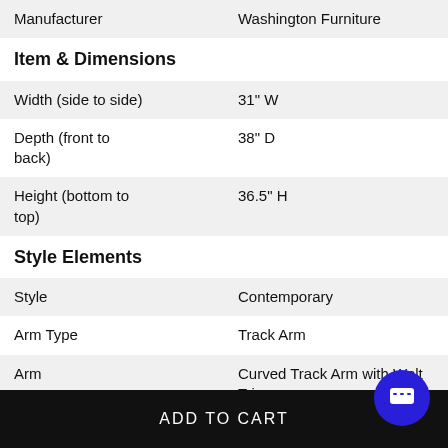|  |  |
| --- | --- |
| Manufacturer | Washington Furniture |
| Item & Dimensions |  |
| Width (side to side) | 31" W |
| Depth (front to back) | 38" D |
| Height (bottom to top) | 36.5" H |
| Style Elements |  |
| Style | Contemporary |
| Arm Type | Track Arm |
| Arm | Curved Track Arm with Welt Trim |
| Leg or Skirt | Tapered Wood Legs |
| Style Elements |  |
ADD TO CART